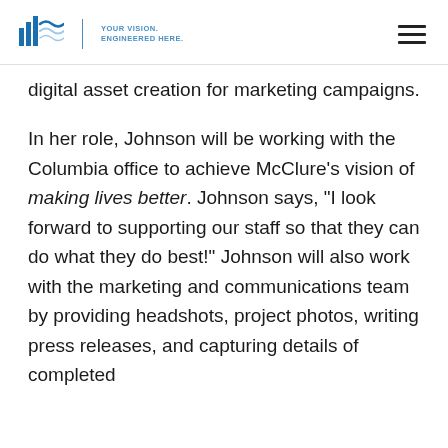McClure | YOUR VISION. ENGINEERED HERE.
digital asset creation for marketing campaigns.
In her role, Johnson will be working with the Columbia office to achieve McClure’s vision of making lives better. Johnson says, “I look forward to supporting our staff so that they can do what they do best!” Johnson will also work with the marketing and communications team by providing headshots, project photos, writing press releases, and capturing details of completed